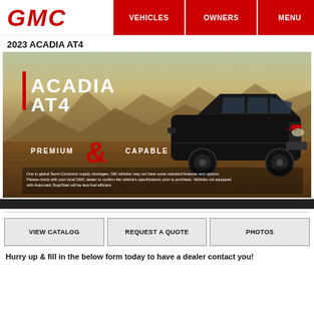GMC | VEHICLES | OWNERS | MENU
2023 ACADIA AT4
[Figure (photo): 2023 GMC Acadia AT4 promotional hero image showing a black SUV on a desert landscape with mountains in background. Text overlays read 'ACADIA AT4' and 'PREMIUM & CAPABLE'. Disclaimer text at bottom of image reads: Due to global Semi-Conductor supply shortages, GM vehicles may not have some standard features and options. Please check with your local GMC dealer to confirm the vehicle's specifications prior to purchase. Vehicles not equipped with Automatic Stop/Start will be less fuel efficient.]
[Figure (screenshot): Dark separator bar]
VIEW CATALOG | REQUEST A QUOTE | PHOTOS
Hurry up & fill in the below form today to have a dealer contact you!